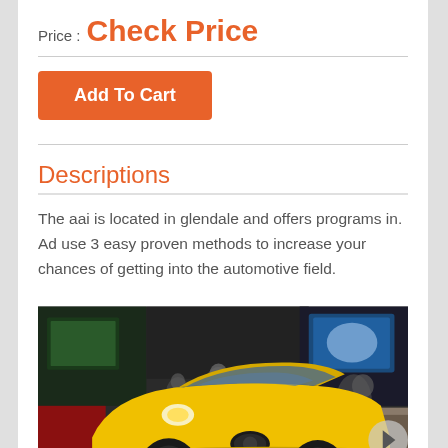Price : Check Price
Add To Cart
Descriptions
The aai is located in glendale and offers programs in. Ad use 3 easy proven methods to increase your chances of getting into the automotive field.
[Figure (photo): A yellow BMW 8 Series sports car prominently displayed at what appears to be an automotive show, with other classic cars and display screens visible in the background.]